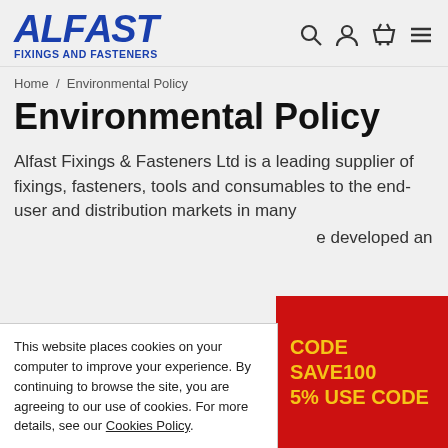[Figure (logo): ALFAST Fixings and Fasteners logo in bold blue italic font with striped T letter]
Home / Environmental Policy
Environmental Policy
Alfast Fixings & Fasteners Ltd is a leading supplier of fixings, fasteners, tools and consumables to the end-user and distribution markets in many [countries. The company has developed an...]
This website places cookies on your computer to improve your experience. By continuing to browse the site, you are agreeing to our use of cookies. For more details, see our Cookies Policy.
CODE SAVE100
5% USE CODE